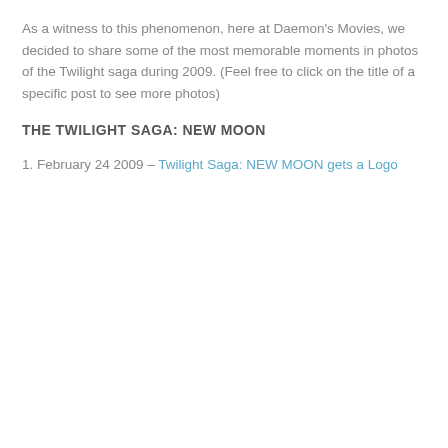As a witness to this phenomenon, here at Daemon's Movies, we decided to share some of the most memorable moments in photos of the Twilight saga during 2009. (Feel free to click on the title of a specific post to see more photos)
THE TWILIGHT SAGA: NEW MOON
1. February 24 2009 – Twilight Saga: NEW MOON gets a Logo